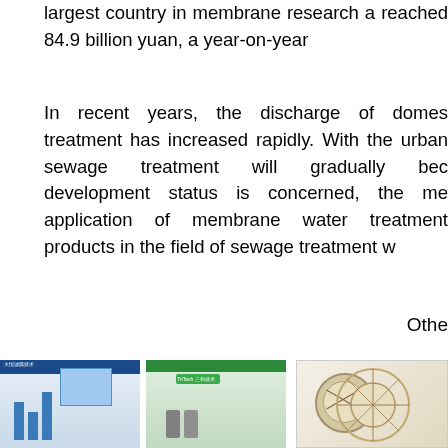largest country in membrane research a... reached 84.9 billion yuan, a year-on-year ...
In recent years, the discharge of domes... treatment has increased rapidly. With the... urban sewage treatment will gradually bec... development status is concerned, the mem... application of membrane water treatment... products in the field of sewage treatment w...
Othe...
[Figure (photo): Exhibition booth photo showing a company display with bar charts and screen, people standing nearby]
[Figure (photo): Exhibition hall photo showing TriTech company booth with visitors]
[Figure (photo): Close-up photo of a circular membrane filtration product]